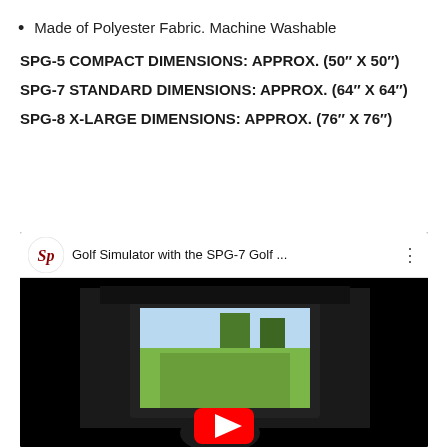Made of Polyester Fabric. Machine Washable
SPG-5 COMPACT DIMENSIONS: APPROX. (50" X 50")
SPG-7 STANDARD DIMENSIONS: APPROX. (64" X 64")
SPG-8 X-LARGE DIMENSIONS: APPROX. (76" X 76")
[Figure (screenshot): YouTube video thumbnail for 'Golf Simulator with the SPG-7 Golf ...' showing a golf simulator screen in a dark room with a hand holding a golf club. Red YouTube play button visible at bottom center.]